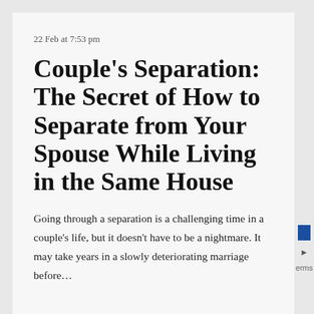22 Feb at 7:53 pm
Couple's Separation: The Secret of How to Separate from Your Spouse While Living in the Same House
Going through a separation is a challenging time in a couple's life, but it doesn't have to be a nightmare. It may take years in a slowly deteriorating marriage before…